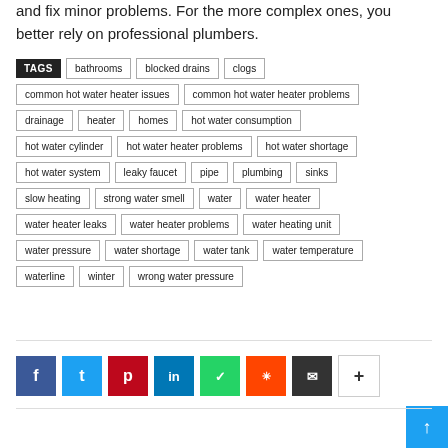and fix minor problems. For the more complex ones, you better rely on professional plumbers.
TAGS: bathrooms, blocked drains, clogs, common hot water heater issues, common hot water heater problems, drainage, heater, homes, hot water consumption, hot water cylinder, hot water heater problems, hot water shortage, hot water system, leaky faucet, pipe, plumbing, sinks, slow heating, strong water smell, water, water heater, water heater leaks, water heater problems, water heating unit, water pressure, water shortage, water tank, water temperature, waterline, winter, wrong water pressure
[Figure (infographic): Social sharing buttons: Facebook, Twitter, Pinterest, LinkedIn, WhatsApp, Reddit, Email, More (+). A scroll-to-top button (blue arrow) appears at bottom right.]